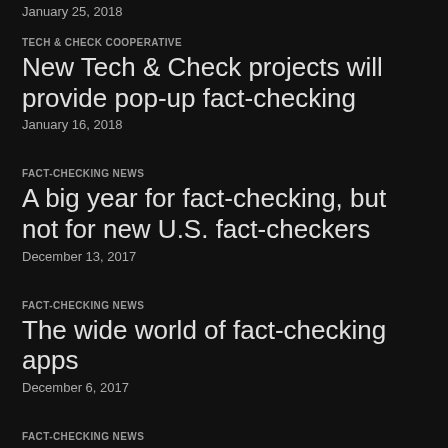January 25, 2018
TECH & CHECK COOPERATIVE
New Tech & Check projects will provide pop-up fact-checking
January 16, 2018
FACT-CHECKING NEWS
A big year for fact-checking, but not for new U.S. fact-checkers
December 13, 2017
FACT-CHECKING NEWS
The wide world of fact-checking apps
December 6, 2017
FACT-CHECKING NEWS
Duke graduate develops Chrome extension to identify source reporting
November 14, 2017